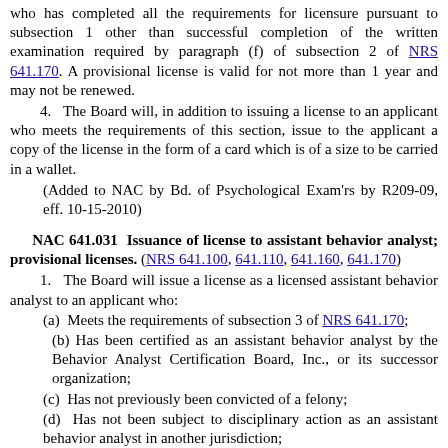who has completed all the requirements for licensure pursuant to subsection 1 other than successful completion of the written examination required by paragraph (f) of subsection 2 of NRS 641.170. A provisional license is valid for not more than 1 year and may not be renewed.
4.  The Board will, in addition to issuing a license to an applicant who meets the requirements of this section, issue to the applicant a copy of the license in the form of a card which is of a size to be carried in a wallet.
(Added to NAC by Bd. of Psychological Exam'rs by R209-09, eff. 10-15-2010)
NAC 641.031  Issuance of license to assistant behavior analyst; provisional licenses. (NRS 641.100, 641.110, 641.160, 641.170)
1.  The Board will issue a license as a licensed assistant behavior analyst to an applicant who:
(a)  Meets the requirements of subsection 3 of NRS 641.170;
(b)  Has been certified as an assistant behavior analyst by the Behavior Analyst Certification Board, Inc., or its successor organization;
(c)  Has not previously been convicted of a felony;
(d)  Has not been subject to disciplinary action as an assistant behavior analyst in another jurisdiction;
(e)  Does not have any outstanding complaints or charges pending against him or her as an assistant behavior analyst in another jurisdiction;
(f)  Has not previously been denied licensure by the Board;